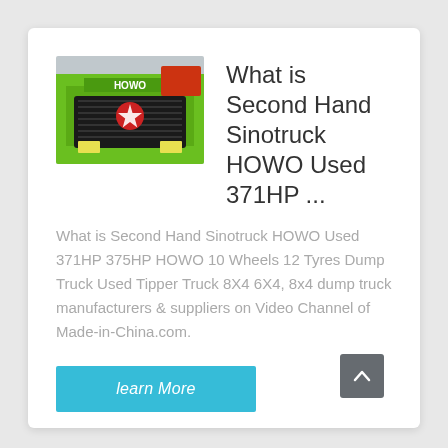[Figure (photo): Front view of a green Sinotruck HOWO truck with logo visible on the grille]
What is Second Hand Sinotruck HOWO Used 371HP ...
What is Second Hand Sinotruck HOWO Used 371HP 375HP HOWO 10 Wheels 12 Tyres Dump Truck Used Tipper Truck 8X4 6X4, 8x4 dump truck manufacturers & suppliers on Video Channel of Made-in-China.com.
learn More